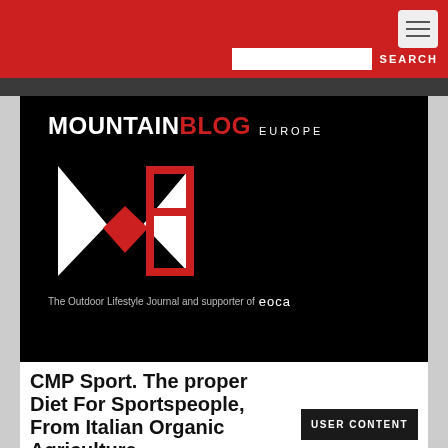SEARCH
[Figure (logo): Mountain Blog Europe logo on black background — large M icon with red triangle, MOUNTAINBLOG in white/red, EUROPE subtitle. Tagline: The Outdoor Lifestyle Journal and supporter of EOCA]
CMP Sport. The proper Diet For Sportspeople, From Italian Organic Agriculture
USER CONTENT